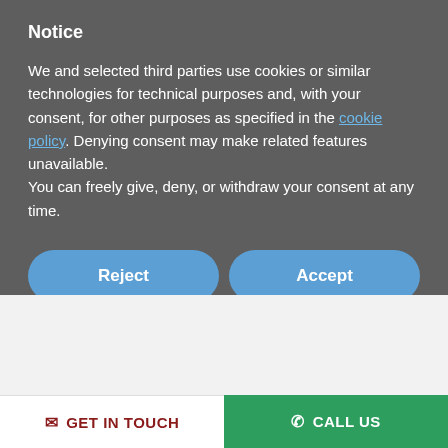Notice
We and selected third parties use cookies or similar technologies for technical purposes and, with your consent, for other purposes as specified in the cookie policy. Denying consent may make related features unavailable.
You can freely give, deny, or withdraw your consent at any time.
Reject
Accept
Learn more and customize
GET IN TOUCH   CALL US